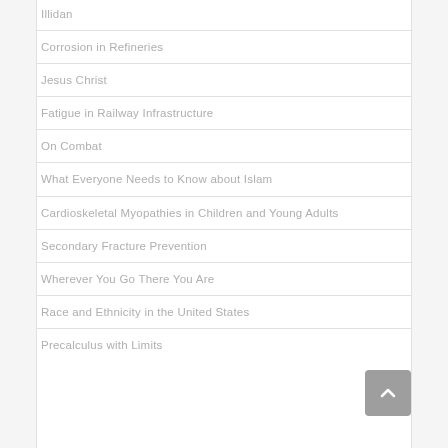Illidan
Corrosion in Refineries
Jesus Christ
Fatigue in Railway Infrastructure
On Combat
What Everyone Needs to Know about Islam
Cardioskeletal Myopathies in Children and Young Adults
Secondary Fracture Prevention
Wherever You Go There You Are
Race and Ethnicity in the United States
Precalculus with Limits